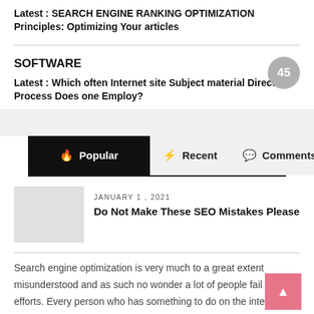Latest : SEARCH ENGINE RANKING OPTIMIZATION Principles: Optimizing Your articles
SOFTWARE
45
Latest : Which often Internet site Subject material Direction Process Does one Employ?
Popular  Recent  Comments
JANUARY 1 , 2021
Do Not Make These SEO Mistakes Please
Search engine optimization is very much to a great extent misunderstood and as such no wonder a lot of people fail in their efforts. Every person who has something to do on the internet